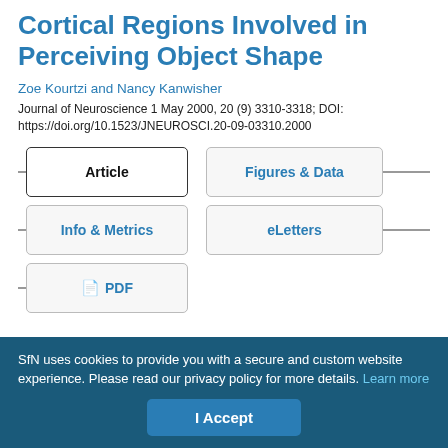Cortical Regions Involved in Perceiving Object Shape
Zoe Kourtzi and Nancy Kanwisher
Journal of Neuroscience 1 May 2000, 20 (9) 3310-3318; DOI: https://doi.org/10.1523/JNEUROSCI.20-09-03310.2000
Article | Figures & Data | Info & Metrics | eLetters | PDF
SfN uses cookies to provide you with a secure and custom website experience. Please read our privacy policy for more details. Learn more
I Accept